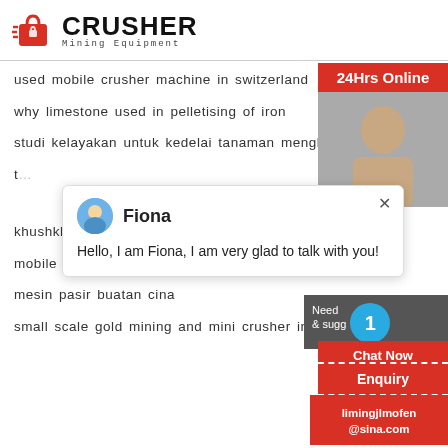[Figure (logo): Crusher Mining Equipment logo with red shopping bag icon and bold CRUSHER text]
used mobile crusher machine in switzerland
why limestone used in pelletising of iron
studi kelayakan untuk kedelai tanaman menghancurkan
khushkhera cement grinding unit
mobile concrete crusher in oregon
mesin pasir buatan cina
small scale gold mining and mini crusher in co
[Figure (screenshot): Chat popup with Fiona avatar saying Hello, I am Fiona, I am very glad to talk with you!]
[Figure (infographic): Right sidebar with 24Hrs Online, Need help chat button with blue circle showing 1, Chat Now button, Enquiry button, limingjlmofen@sina.com email]